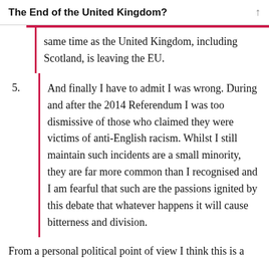The End of the United Kingdom?
same time as the United Kingdom, including Scotland, is leaving the EU.
5. And finally I have to admit I was wrong. During and after the 2014 Referendum I was too dismissive of those who claimed they were victims of anti-English racism. Whilst I still maintain such incidents are a small minority, they are far more common than I recognised and I am fearful that such are the passions ignited by this debate that whatever happens it will cause bitterness and division.
From a personal political point of view I think this is a